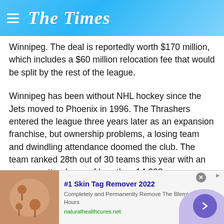The Times
Winnipeg. The deal is reportedly worth $170 million, which includes a $60 million relocation fee that would be split by the rest of the league.
Winnipeg has been without NHL hockey since the Jets moved to Phoenix in 1996. The Thrashers entered the league three years later as an expansion franchise, but ownership problems, a losing team and dwindling attendance doomed the club. The team ranked 28th out of 30 teams this year with an average attendance of less than 14,000.
Assuming the deal goes through – it still must be approved b
[Figure (other): Advertisement banner: #1 Skin Tag Remover 2022. Completely and Permanently Remove The Blemish Within Hours. naturalhealthcures.net]